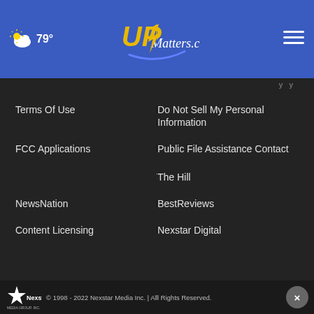79° UPMatters.com
Terms Of Use
Do Not Sell My Personal Information
FCC Applications
Public File Assistance Contact
The Hill
NewsNation
BestReviews
Content Licensing
Nexstar Digital
© 1998 - 2022 Nexstar Media Inc. | All Rights Reserved.
[Figure (infographic): Advertisement banner: IT'S ABOUT Owning THE BEST.]